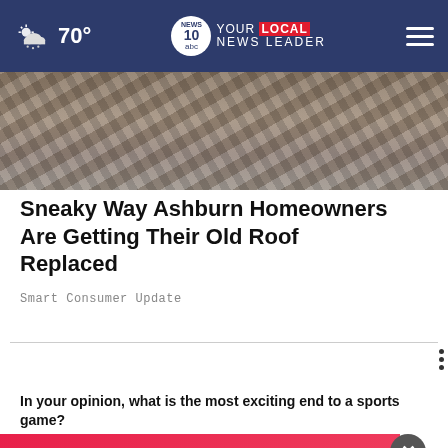70° NEWS 10 YOUR LOCAL NEWS LEADER
[Figure (photo): Debris and broken roofing materials scattered on ground, aerial or close-up view of roof damage.]
Sneaky Way Ashburn Homeowners Are Getting Their Old Roof Replaced
Smart Consumer Update
WHAT DO YOU THINK?
In your opinion, what is the most exciting end to a sports game?
Three point buzzer beater
[Figure (infographic): Advertisement banner: CERTIFIED PRE-OWNED TOYOTA BACKED WITH 7YR / 100k MILE POWERTRAIN WARRANTY FROM DATE OF SALE — Lia Toyota of Colonie]
A hockey shootout